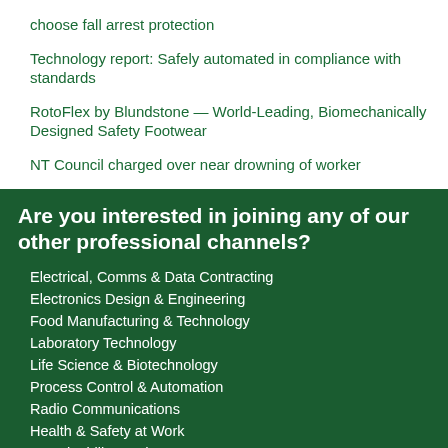choose fall arrest protection
Technology report: Safely automated in compliance with standards
RotoFlex by Blundstone — World-Leading, Biomechanically Designed Safety Footwear
NT Council charged over near drowning of worker
Are you interested in joining any of our other professional channels?
Electrical, Comms & Data Contracting
Electronics Design & Engineering
Food Manufacturing & Technology
Laboratory Technology
Life Science & Biotechnology
Process Control & Automation
Radio Communications
Health & Safety at Work
Sustainability - Industry & government
IT Management
Hospital + Healthcare